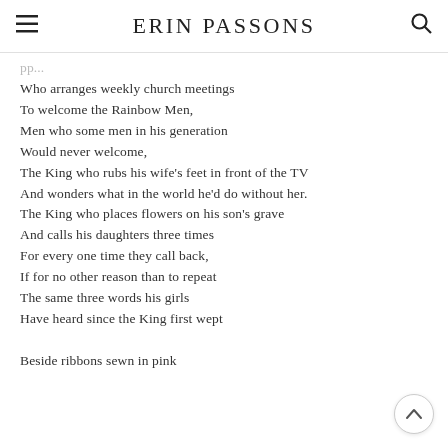ERIN PASSONS
Who arranges weekly church meetings
To welcome the Rainbow Men,
Men who some men in his generation
Would never welcome,
The King who rubs his wife's feet in front of the TV
And wonders what in the world he'd do without her.
The King who places flowers on his son's grave
And calls his daughters three times
For every one time they call back,
If for no other reason than to repeat
The same three words his girls
Have heard since the King first wept

Beside ribbons sewn in pink